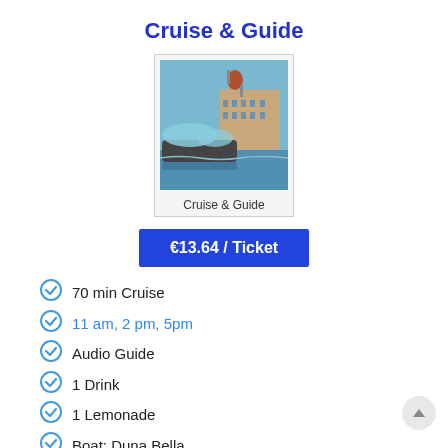Cruise & Guide
[Figure (photo): A modern river cruise boat on the Danube with the Hungarian Parliament building in the background]
Cruise & Guide
€13.64 / Ticket
70 min Cruise
11 am, 2 pm, 5pm
Audio Guide
1 Drink
1 Lemonade
Boat: Duna Bella
Student Discount
Free for under 10